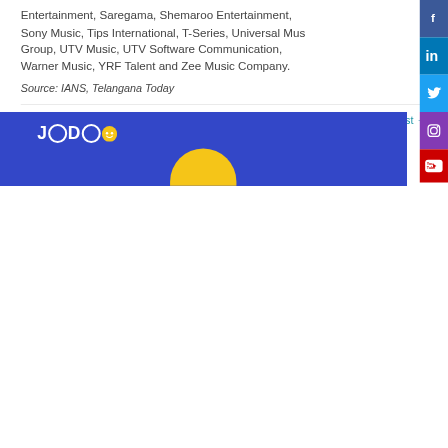Entertainment, Saregama, Shemaroo Entertainment, Sony Music, Tips International, T-Series, Universal Music Group, UTV Music, UTV Software Communication, Warner Music, YRF Talent and Zee Music Company.
Source: IANS, Telangana Today
← Previous Post
Next Post →
[Figure (logo): JODO logo on blue background with yellow smiley face circle, and a yellow semicircle at the bottom center]